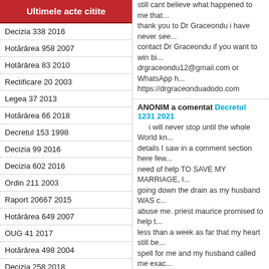Ultimele acte citite
Decizia 338 2016
Hotărârea 958 2007
Hotărârea 83 2010
Rectificare 20 2003
Legea 37 2013
Hotărârea 66 2018
Decretul 153 1998
Decizia 99 2016
Decizia 602 2016
Ordin 211 2003
Raport 20667 2015
Hotărârea 649 2007
OUG 41 2017
Hotărârea 498 2004
Decizia 258 2018
OUG 194 2002
OUG 76 2016
Hotărârea 602 2002
Legea 132 2010
still cant believe what happened to me that... thank you to Dr Graceondu i have never see... contact Dr Graceondu if you want to win bi... drgraceondu12@gmail.com or WhatsApp h... https://drgraceonduadodo.com
ANONIM a comentat Decretul 1231 2021
i will never stop until the whole World kn... details I saw in a comment section here few... need of help TO SAVE MY MARRIAGE, I... going down the drain as my husband WAS c... abuse me. priest maurice promised to help t... less than a week as far that my heart still be... spell for me and my husband called me exac... back since then he have been the sweetest m... effect spell caster Can reach him on email:p
ANONIM a comentat Ordin 12 2006
Mai este in vigoare acest ordin, din mome... la rezidurile de pesticide din alimente, inclu
ANONIM a comentat Decretul 770 1966
HOW TO GET YOUR EX LOVER BAC... Omokpo for saving my marriage. My husba... sick and confused. Then I told my friend ab... contact: {dromokpo@gmail.com}that he wi... great man helped her too. Then I gave him a... and I forgive him and today we are living in... or broken marriage situation and you want...